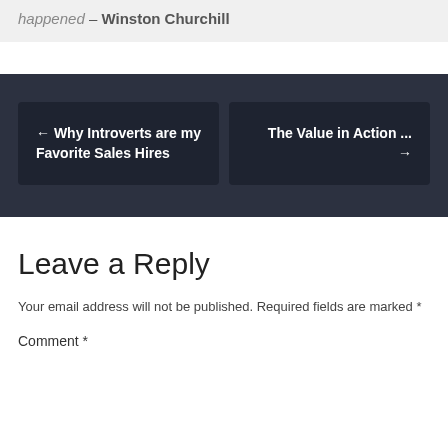happened – Winston Churchill
← Why Introverts are my Favorite Sales Hires
The Value in Action ... →
Leave a Reply
Your email address will not be published. Required fields are marked *
Comment *